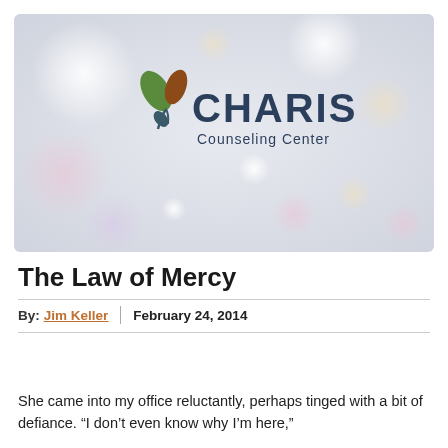[Figure (logo): Charis Counseling Center logo on a soft bokeh background with pastel colored light circles. Logo shows two leaves (green and brown) above a stylized plant stem with the text CHARIS in large dark navy letters and Counseling Center below in smaller navy text.]
The Law of Mercy
By: Jim Keller  |  February 24, 2014
She came into my office reluctantly, perhaps tinged with a bit of defiance. “I don’t even know why I’m here,” she sputtered, “I guess my frustration level has just